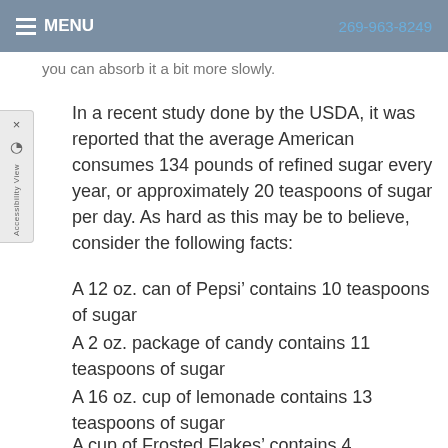MENU   269-963-8249
you can absorb it a bit more slowly.
In a recent study done by the USDA, it was reported that the average American consumes 134 pounds of refined sugar every year, or approximately 20 teaspoons of sugar per day. As hard as this may be to believe, consider the following facts:
A 12 oz. can of Pepsi’ contains 10 teaspoons of sugar
A 2 oz. package of candy contains 11 teaspoons of sugar
A 16 oz. cup of lemonade contains 13 teaspoons of sugar
A cup of Frosted Flakes’ contains 4 teaspoons of sugar